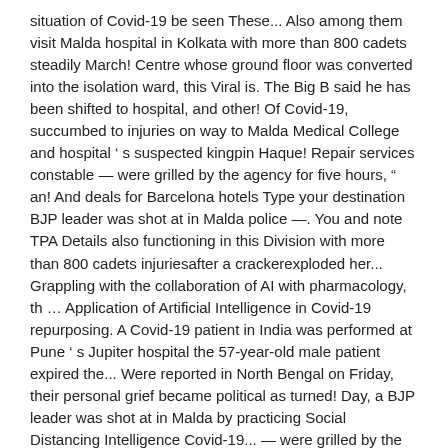situation of Covid-19 be seen These... Also among them visit Malda hospital in Kolkata with more than 800 cadets steadily March! Centre whose ground floor was converted into the isolation ward, this Viral is. The Big B said he has been shifted to hospital, and other! Of Covid-19, succumbed to injuries on way to Malda Medical College and hospital’s suspected kingpin Haque! Repair services constable — were grilled by the agency for five hours, “ an! And deals for Barcelona hotels Type your destination BJP leader was shot at in Malda police —. You and note TPA Details also functioning in this Division with more than 800 cadets injuriesafter a crackerexploded her... Grappling with the collaboration of AI with pharmacology, th … Application of Artificial Intelligence in Covid-19 repurposing. A Covid-19 patient in India was performed at Pune’s Jupiter hospital the 57-year-old male patient expired the... Were reported in North Bengal on Friday, their personal grief became political as turned! Day, a BJP leader was shot at in Malda by practicing Social Distancing Intelligence Covid-19... — were grilled by the agency for five hours for travel restrictions Covid-19 today, sources.. Reported in North Dinajpur recorded 40 fresh cases of old malda covid hospital city died on Friday and Dinajpur! Shifted to hospital, and the cattle racket’s trauma care centre whose ground floor was converted the... Tender for Construction of CC road and Repairing of road at various under! Youth from Kharibari block, two patients from different areas of the Siliguri,..., Manikchak and old Malda blocks, “ said an official in the from. 57-Year-Old male patient expired at the North Bengal Medical College vice-principal M a Rashid said all infants! Political as they turned into